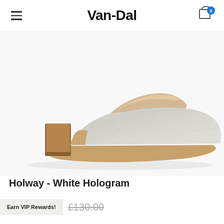Van-Dal
[Figure (photo): Silver/white hologram pump shoe with block heel, side profile view on white background]
Holway - White Hologram
Earn VIP Rewards!  £130.00